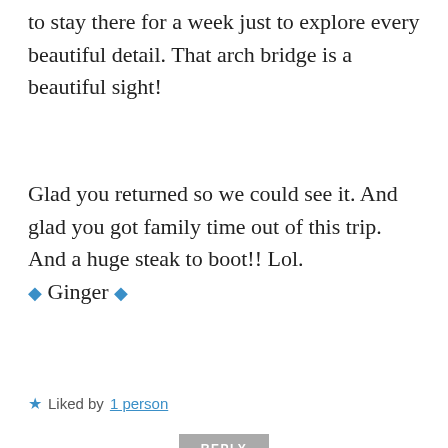to stay there for a week just to explore every beautiful detail. That arch bridge is a beautiful sight!
Glad you returned so we could see it. And glad you got family time out of this trip. And a huge steak to boot!! Lol.
◆ Ginger ◆
★ Liked by 1 person
REPLY
Dan Antion
MAY 10, 2018 AT 10:11 AM
[Figure (photo): Circular avatar photo of Dan Antion, a person wearing a red cap, sitting with a dog on what appears to be a wooden surface outdoors.]